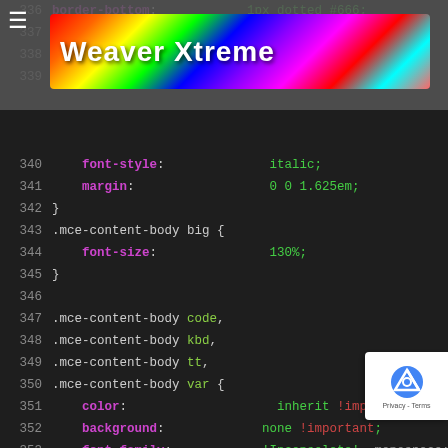[Figure (screenshot): Weaver Xtreme logo banner with colorful rainbow background and hamburger menu icon]
CSS code editor screenshot showing lines 336-369 with syntax highlighting. Lines include CSS rules for .mce-content-body selectors including font-style, margin, big font-size, code/kbd/tt/var color/background/font-family/font-size, del color, and pre box-shadow/box-sizing/background/border/border-bottom-color/border-radius/font-family/font-size properties.
[Figure (other): Google reCAPTCHA badge in bottom right corner]